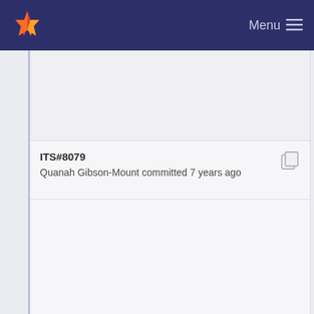Menu
ITS#8079
Quanah Gibson-Mount committed 7 years ago
ITS#8080
Quanah Gibson-Mount committed 7 years ago